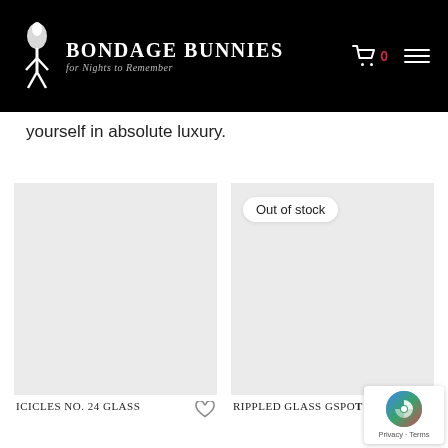Bondage Bunnies — for Nights to Remember
yourself in absolute luxury.
[Figure (screenshot): Product card with light gray placeholder image for Icicles No. 24 Glass product]
[Figure (screenshot): Product card with light gray placeholder image for Rippled Glass GSpot product, with Out of stock badge]
Icicles No. 24 Glass
Rippled Glass GSpo...